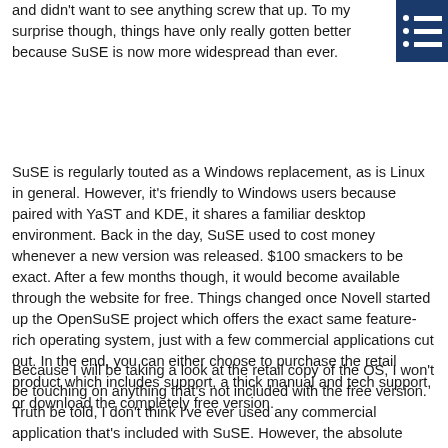and didn't want to see anything screw that up. To my surprise though, things have only really gotten better because SuSE is now more widespread than ever.
[Figure (other): Navigation menu icon with blue background, showing horizontal bars with dots]
SuSE is regularly touted as a Windows replacement, as is Linux in general. However, it's friendly to Windows users because paired with YaST and KDE, it shares a familiar desktop environment. Back in the day, SuSE used to cost money whenever a new version was released. $100 smackers to be exact. After a few months though, it would become available through the website for free. Things changed once Novell started up the OpenSuSE project which offers the exact same feature-rich operating system, just with a few commercial applications cut out. In the end, you can either choose to purchase the retail product which includes support, a thick manual and tech support, or download the completely free version.
Because I will be taking a look at the retail copy of the OS, I won't be touching on anything that's not included with the free version. Truth be told, I don't think I've ever used any commercial application that's included with SuSE. However, the absolute primarily difference between the versions is that you get professional tech support with the retail version. You also get a nice thick manual which is good bathroom reading. Of course though, there is still a lot of support